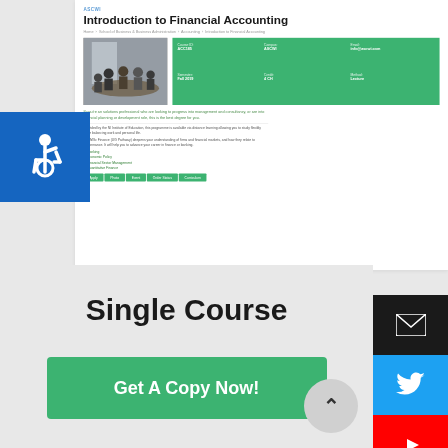[Figure (screenshot): Screenshot of a course page for 'Introduction to Financial Accounting' showing course details, description, image of people in a meeting, green info box with course metadata, body text, bullet list items (Banking, Economic Policy, Financial Sector Management, Quantitative Finance), and green tab navigation bar.]
[Figure (illustration): Accessibility icon (wheelchair symbol) on blue background in top-left region.]
[Figure (infographic): Social media icons bar on right side: email (black), Twitter (blue), YouTube (red), Instagram (grey), Facebook (blue).]
Single Course
Get A Copy Now!